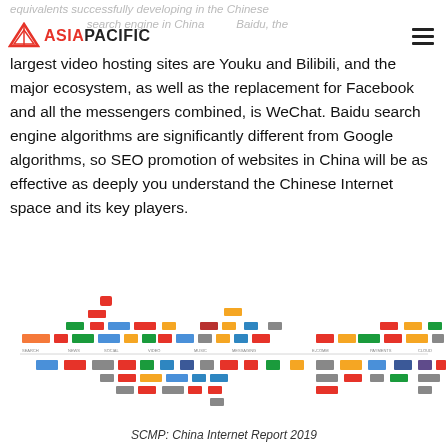equivalents successfully developing in the Chinese search engine in China is Baidu, the
largest video hosting sites are Youku and Bilibili, and the major ecosystem, as well as the replacement for Facebook and all the messengers combined, is WeChat. Baidu search engine algorithms are significantly different from Google algorithms, so SEO promotion of websites in China will be as effective as deeply you understand the Chinese Internet space and its key players.
[Figure (infographic): Chinese Internet ecosystem infographic showing logos of major Chinese internet companies and platforms arranged in a chart format, with a horizontal timeline/axis dividing Chinese equivalents (top) from global counterparts (bottom). Includes logos such as Baidu, Youku, Bilibili, WeChat, Taobao, JD, Tencent, Weibo, and many others, as well as global equivalents like Google, Amazon, YouTube, Facebook, WhatsApp, Netflix, Apple, and others.]
SCMP: China Internet Report 2019